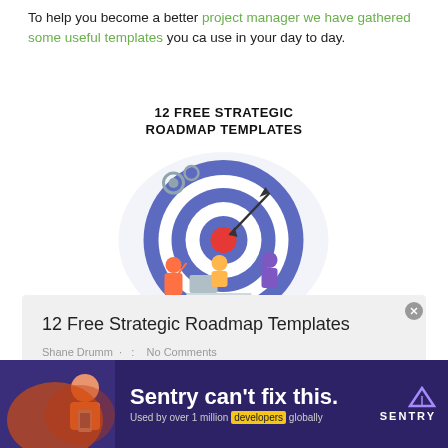To help you become a better project manager we have gathered some useful templates you ca use in your day to day.
[Figure (illustration): Illustration showing a target/bullseye with a dart, gear icons, and people working around it. Above the illustration is bold text reading '12 FREE STRATEGIC ROADMAP TEMPLATES'.]
12 Free Strategic Roadmap Templates
Shane Drumm · : No Comments
[Figure (infographic): Advertisement banner: 'Sentry can't fix this. Used by over 1 million developers globally' with Sentry logo, dark purple background, and an image of a distressed person.]